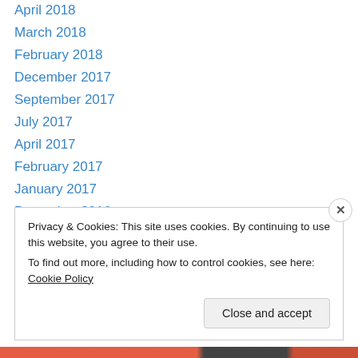April 2018
March 2018
February 2018
December 2017
September 2017
July 2017
April 2017
February 2017
January 2017
December 2016
November 2016
October 2016
September 2016
Privacy & Cookies: This site uses cookies. By continuing to use this website, you agree to their use.
To find out more, including how to control cookies, see here: Cookie Policy
Close and accept